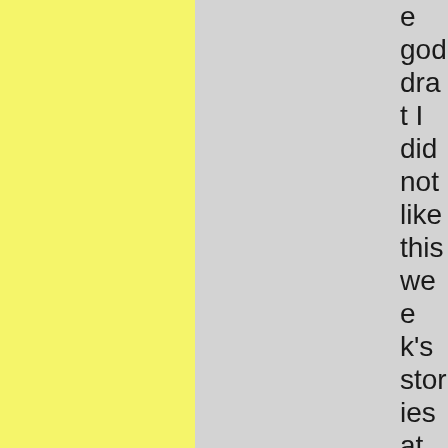e god drat I did not like this week's stories at all.

So are we not supposed to post